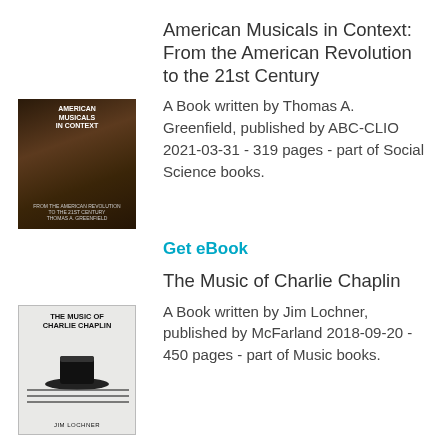American Musicals in Context: From the American Revolution to the 21st Century
A Book written by Thomas A. Greenfield, published by ABC-CLIO 2021-03-31 - 319 pages - part of Social Science books.
Get eBook
The Music of Charlie Chaplin
A Book written by Jim Lochner, published by McFarland 2018-09-20 - 450 pages - part of Music books.
Get eBook